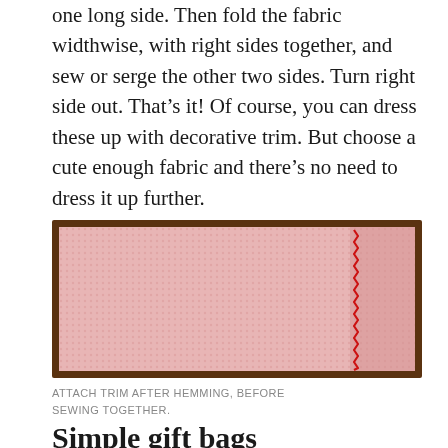one long side. Then fold the fabric widthwise, with right sides together, and sew or serge the other two sides. Turn right side out. That's it! Of course, you can dress these up with decorative trim. But choose a cute enough fabric and there's no need to dress it up further.
[Figure (photo): A rectangular piece of pink/red mesh or net fabric laid flat, photographed against a dark brown wooden surface. There is a vertical red serged or zigzag-stitched seam visible near the right side of the fabric.]
ATTACH TRIM AFTER HEMMING, BEFORE SEWING TOGETHER.
Simple gift bags